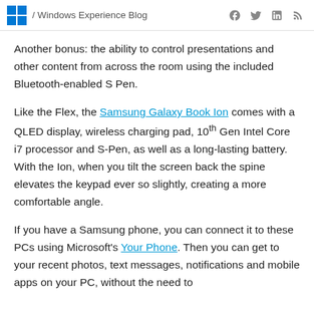/ Windows Experience Blog
Another bonus: the ability to control presentations and other content from across the room using the included Bluetooth-enabled S Pen.
Like the Flex, the Samsung Galaxy Book Ion comes with a QLED display, wireless charging pad, 10th Gen Intel Core i7 processor and S-Pen, as well as a long-lasting battery. With the Ion, when you tilt the screen back the spine elevates the keypad ever so slightly, creating a more comfortable angle.
If you have a Samsung phone, you can connect it to these PCs using Microsoft's Your Phone. Then you can get to your recent photos, text messages, notifications and mobile apps on your PC, without the need to